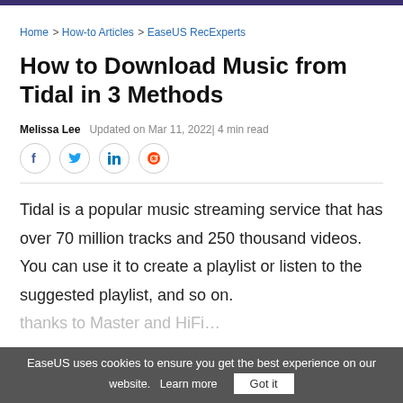Home > How-to Articles > EaseUS RecExperts
How to Download Music from Tidal in 3 Methods
Melissa Lee   Updated on Mar 11, 2022| 4 min read
[Figure (other): Social share icons: Facebook, Twitter, LinkedIn, Reddit]
Tidal is a popular music streaming service that has over 70 million tracks and 250 thousand videos. You can use it to create a playlist or listen to the suggested playlist, and so on.
EaseUS uses cookies to ensure you get the best experience on our website.   Learn more   Got it